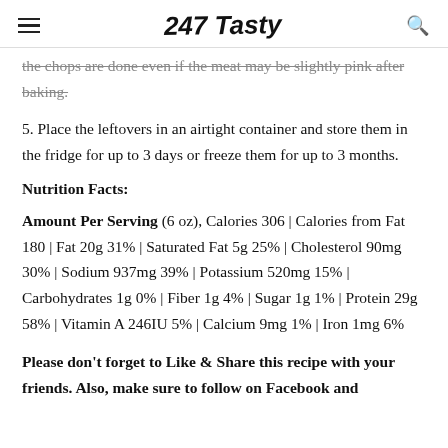247 Tasty
the chops are done even if the meat may be slightly pink after baking.
5. Place the leftovers in an airtight container and store them in the fridge for up to 3 days or freeze them for up to 3 months.
Nutrition Facts:
Amount Per Serving (6 oz), Calories 306 | Calories from Fat 180 | Fat 20g 31% | Saturated Fat 5g 25% | Cholesterol 90mg 30% | Sodium 937mg 39% | Potassium 520mg 15% | Carbohydrates 1g 0% | Fiber 1g 4% | Sugar 1g 1% | Protein 29g 58% | Vitamin A 246IU 5% | Calcium 9mg 1% | Iron 1mg 6%
Please don't forget to Like & Share this recipe with your friends. Also, make sure to follow on Facebook and